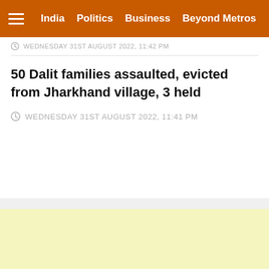India  Politics  Business  Beyond Metros
WEDNESDAY 31ST AUGUST 2022, 11:42 PM
50 Dalit families assaulted, evicted from Jharkhand village, 3 held
WEDNESDAY 31ST AUGUST 2022, 11:41 PM